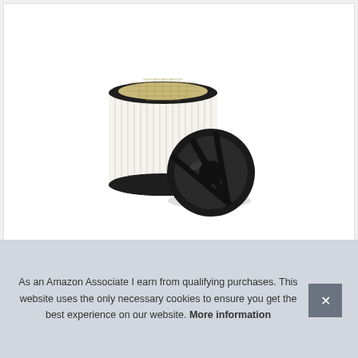[Figure (photo): Product photo of a cylindrical vacuum filter with white pleated paper filter body and black rubber rims, shown with a separate circular black plastic end cap leaning against it at an angle.]
As an Amazon Associate I earn from qualifying purchases. This website uses the only necessary cookies to ensure you get the best experience on our website. More information